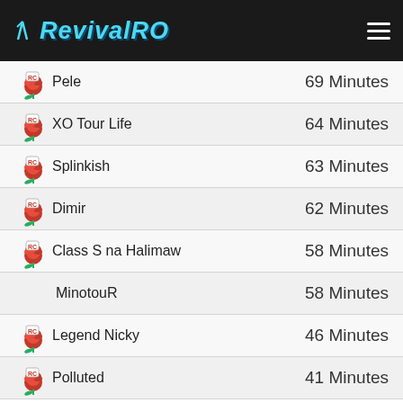RevivalRO
Pele — 69 Minutes
XO Tour Life — 64 Minutes
Splinkish — 63 Minutes
Dimir — 62 Minutes
Class S na Halimaw — 58 Minutes
MinotouR — 58 Minutes
Legend Nicky — 46 Minutes
Polluted — 41 Minutes